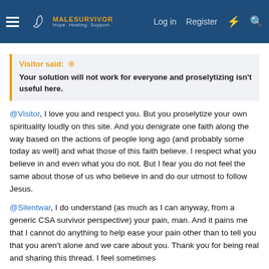MaleSurvivor — Hope. Healing. Support. | Log in | Register
Visitor said: ↗
Your solution will not work for everyone and proselytizing isn't useful here.
@Visitor, I love you and respect you. But you proselytize your own spirituality loudly on this site. And you denigrate one faith along the way based on the actions of people long ago (and probably some today as well) and what those of this faith believe. I respect what you believe in and even what you do not. But I fear you do not feel the same about those of us who believe in and do our utmost to follow Jesus.
@Silentwar, I do understand (as much as I can anyway, from a generic CSA survivor perspective) your pain, man. And it pains me that I cannot do anything to help ease your pain other than to tell you that you aren't alone and we care about you. Thank you for being real and sharing this thread. I feel sometimes